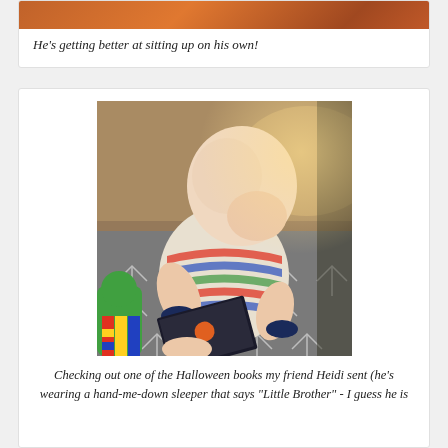He's getting better at sitting up on his own!
[Figure (photo): Baby sitting on a grey arrow-patterned blanket/mat, wearing a striped sleeper that says 'Little Brother', holding and looking at a dark Halloween book. Colorful toy visible on left side. Hardwood floor and warm light visible in background.]
Checking out one of the Halloween books my friend Heidi sent (he's wearing a hand-me-down sleeper that says "Little Brother" - I guess he is